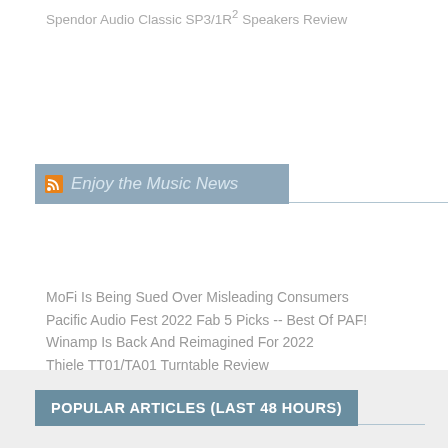Spendor Audio Classic SP3/1R² Speakers Review
Enjoy the Music News
MoFi Is Being Sued Over Misleading Consumers
Pacific Audio Fest 2022 Fab 5 Picks -- Best Of PAF!
Winamp Is Back And Reimagined For 2022
Thiele TT01/TA01 Turntable Review
What Do Measurements Reveal?
Sounding Off About Big Shows
POPULAR ARTICLES (LAST 48 HOURS)